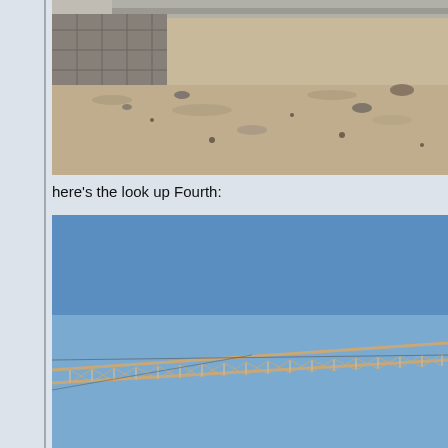[Figure (photo): Construction site ground level photo showing a concrete retaining wall or barrier on the left and sandy/gravelly ground on the right, taken in daylight.]
here's the look up Fourth:
[Figure (photo): Photo looking up at a construction crane boom against a clear blue sky, showing the lattice/truss structure of the crane arm extending diagonally across the frame with cables.]